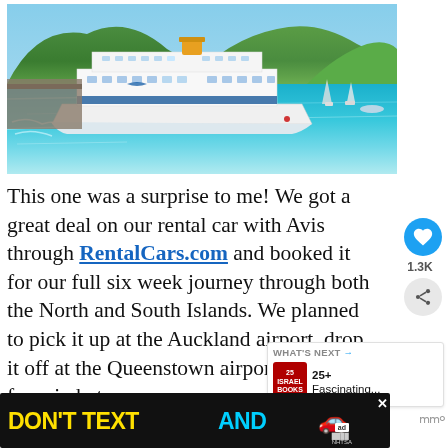[Figure (photo): A large white ferry boat docked in a turquoise harbor with green hills in the background and blue sky. Small sailboats visible on the water.]
This one was a surprise to me! We got a great deal on our rental car with Avis through RentalCars.com and booked it for our full six week journey through both the North and South Islands. We planned to pick it up at the Auckland airport, drop it off at the Queenstown airport, taking the ferry in between.
[Figure (infographic): Ad banner at bottom: 'DON'T TEXT AND' with a red car emoji, ad badge and NHTSA logo on black background. Close button (X) visible.]